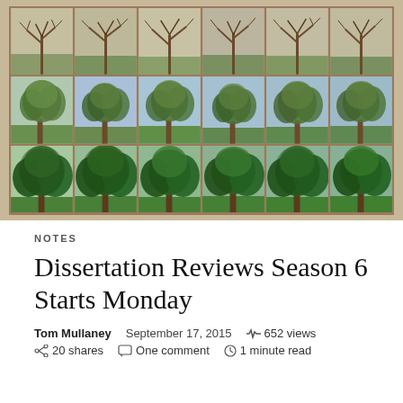[Figure (photo): A grid of photographs showing the same tree (or similar trees) across different seasons — bare winter branches in the top row, leafy spring/summer trees in the middle row, and lush dense green summer trees in the bottom row. The collage is arranged 6 columns × 3 rows, mounted on a warm tan/brown background.]
NOTES
Dissertation Reviews Season 6 Starts Monday
Tom Mullaney   September 17, 2015   652 views   20 shares   One comment   1 minute read